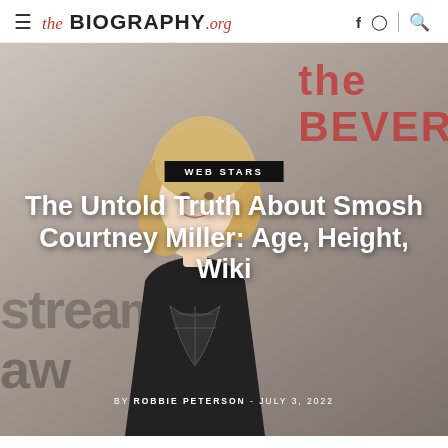the BIOGRAPHY.org
[Figure (photo): Hero image of a blonde woman in a black outfit at what appears to be a streaming awards event. Background text shows 'BEVER' in red and 'stream aw' in grey. A black category badge reads 'WEB STARS'. Large white bold title text reads 'The Untold Truth About Smosh Courtney Miller: Age, Height, Wiki'. Byline reads 'BY ROBBIE PETERSON - JULY 3, 2022'.]